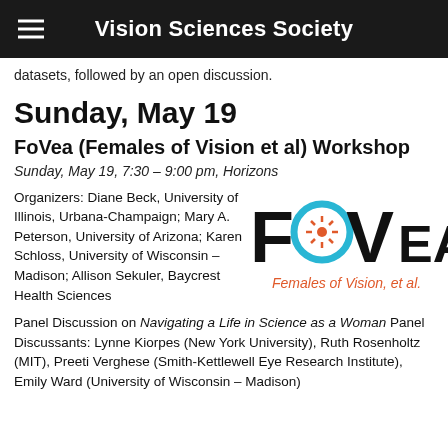Vision Sciences Society
datasets, followed by an open discussion.
Sunday, May 19
FoVea (Females of Vision et al) Workshop
Sunday, May 19, 7:30 – 9:00 pm, Horizons
Organizers: Diane Beck, University of Illinois, Urbana-Champaign; Mary A. Peterson, University of Arizona; Karen Schloss, University of Wisconsin – Madison; Allison Sekuler, Baycrest Health Sciences
[Figure (logo): FoVea logo — large bold text 'FoVea' with the letter 'o' styled as a cyan circle with a sunburst pattern, and subtitle 'Females of Vision, et al.' in coral/orange color]
Panel Discussion on Navigating a Life in Science as a Woman Panel Discussants: Lynne Kiorpes (New York University), Ruth Rosenholtz (MIT), Preeti Verghese (Smith-Kettlewell Eye Research Institute), Emily Ward (University of Wisconsin – Madison)